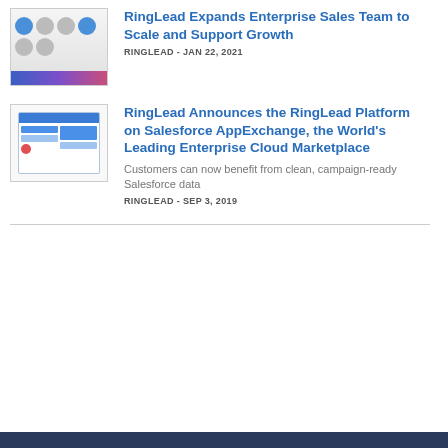[Figure (screenshot): Thumbnail image of RingLead Enterprise Sales Team article showing avatars and a colorful gradient bar]
RingLead Expands Enterprise Sales Team to Scale and Support Growth
RINGLEAD - JAN 22, 2021
[Figure (screenshot): Thumbnail image of RingLead Platform on Salesforce AppExchange article showing a dashboard-like UI screenshot]
RingLead Announces the RingLead Platform on Salesforce AppExchange, the World's Leading Enterprise Cloud Marketplace
Customers can now benefit from clean, campaign-ready Salesforce data
RINGLEAD - SEP 3, 2019